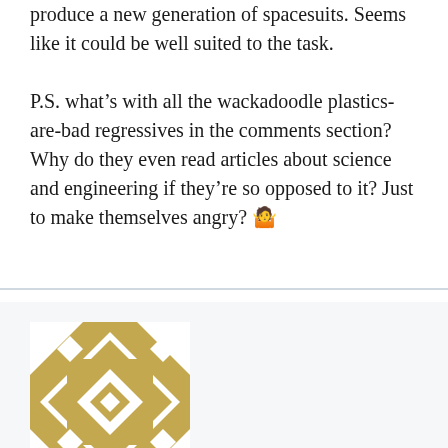produce a new generation of spacesuits. Seems like it could be well suited to the task.

P.S. what's with all the wackadoodle plastics-are-bad regressives in the comments section? Why do they even read articles about science and engineering if they're so opposed to it? Just to make themselves angry? 🤷
[Figure (illustration): A geometric tile avatar image in golden/tan and white colors, featuring diamond and chevron patterns arranged in a square grid.]
Bonded dreams | February 4, 2022 at 5:22 am | Reply